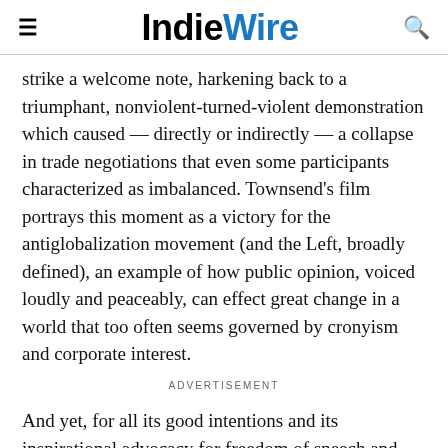IndieWire
strike a welcome note, harkening back to a triumphant, nonviolent-turned-violent demonstration which caused — directly or indirectly — a collapse in trade negotiations that even some participants characterized as imbalanced. Townsend's film portrays this moment as a victory for the antiglobalization movement (and the Left, broadly defined), an example of how public opinion, voiced loudly and peaceably, can effect great change in a world that too often seems governed by cronyism and corporate interest.
ADVERTISEMENT
And yet, for all its good intentions and its inspirational advocacy for freedom of speech and assembly, "Battle in Seattle" remains a difficult film to get up and shout about